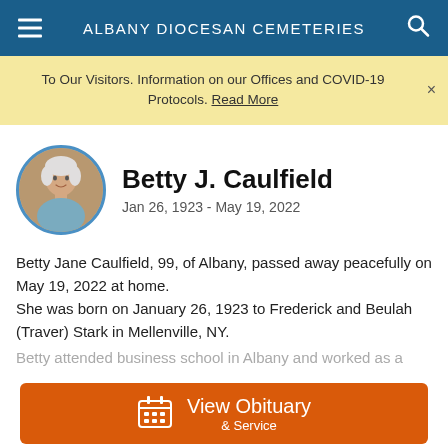ALBANY DIOCESAN CEMETERIES
To Our Visitors. Information on our Offices and COVID-19 Protocols. Read More
Betty J. Caulfield
Jan 26, 1923 - May 19, 2022
Betty Jane Caulfield, 99, of Albany, passed away peacefully on May 19, 2022 at home.
She was born on January 26, 1923 to Frederick and Beulah (Traver) Stark in Mellenville, NY.
Betty attended business school in Albany and worked as a
View Obituary & Service
Send Flowers